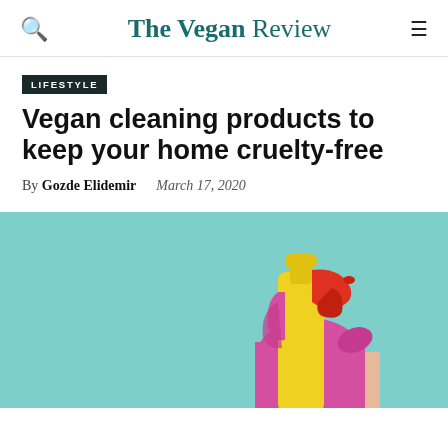The Vegan Review
LIFESTYLE
Vegan cleaning products to keep your home cruelty-free
By Gozde Elidemir   March 17, 2020
[Figure (photo): A hand wearing a pink/magenta rubber glove holding a yellow spray bottle with a red trigger, against a mint/teal background.]